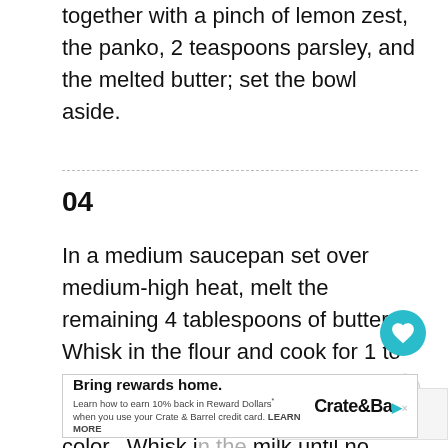together with a pinch of lemon zest, the panko, 2 teaspoons parsley, and the melted butter; set the bowl aside.
04
In a medium saucepan set over medium-high heat, melt the remaining 4 tablespoons of butter.  Whisk in the flour and cook for 1 to 2 minutes, whisking constantly until the mixture is light golden brown in color.  Whisk in the milk until no lumps remain.  Bring the mixture to a simmer where it thickens and starts to bubbling.
[Figure (other): Heart/save button (teal circle with heart icon), share button with count 26, and What's Next panel showing Lobster Mac and Cheese thumbnail]
[Figure (other): Advertisement banner: Bring rewards home. Crate & Barrel. Learn how to earn 10% back in Reward Dollars when you use your Crate & Barrel credit card. LEARN MORE]